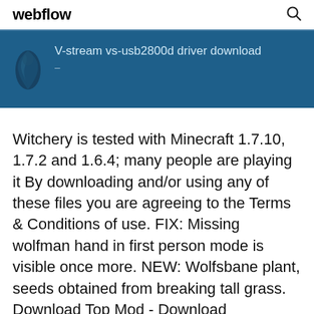webflow
[Figure (screenshot): Blue banner with a stylized flame/figure icon on the left and the text 'V-stream vs-usb2800d driver download' with a dash below it on a dark blue background.]
Witchery is tested with Minecraft 1.7.10, 1.7.2 and 1.6.4; many people are playing it By downloading and/or using any of these files you are agreeing to the Terms & Conditions of use. FIX: Missing wolfman hand in first person mode is visible once more. NEW: Wolfsbane plant, seeds obtained from breaking tall grass. Download Top Mod - Download